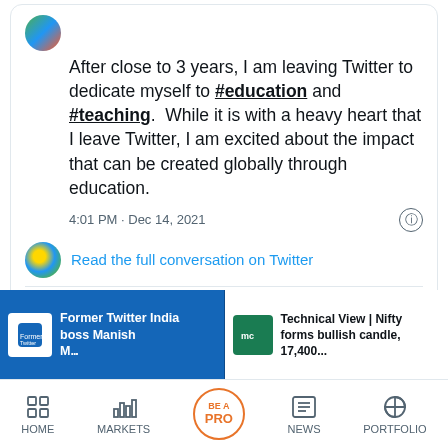[Figure (screenshot): A Twitter/social media post screenshot. Tweet text: 'After close to 3 years, I am leaving Twitter to dedicate myself to #education and #teaching. While it is with a heavy heart that I leave Twitter, I am excited about the impact that can be created globally through education.' Timestamp: 4:01 PM · Dec 14, 2021. Shows 1.3K likes, Reply and Copy link to Tweet actions, and a 'Read 155 replies' button. Below the tweet card: 'Maheshwari's decision comes shortly after' partial article. Ad banners for 'Former Twitter India boss Manish M...' and 'Technical View | Nifty forms bullish candle, 17,400...' Bottom navigation: HOME, MARKETS, BE A PRO, NEWS, PORTFOLIO.]